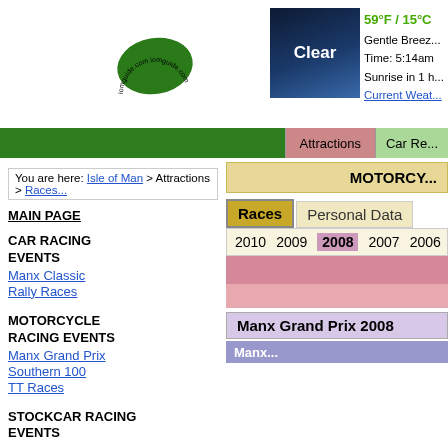[Figure (logo): Isle of Man guide website logo - green island shape with circular text around it reading 'iomguide.com']
[Figure (other): Weather widget showing a dark blue starry sky image with 'Clear' text, temperature 59F/15C, Gentle Breeze, Time 5:14am, Sunrise in 1 hour, Current Weather link]
[Figure (infographic): Navigation bar with green background, Attractions tab in red/pink, Car Re... tab in light green]
You are here: Isle of Man > Attractions > Races
MAIN PAGE
CAR RACING EVENTS
Manx Classic
Rally Races
MOTORCYCLE RACING EVENTS
Manx Grand Prix
Southern 100
TT Races
STOCKCAR RACING EVENTS
MOTORC...
Races  Personal Data
2010  2009  2008  2007  2006  2005
Manx Grand Prix 2008
Manx...